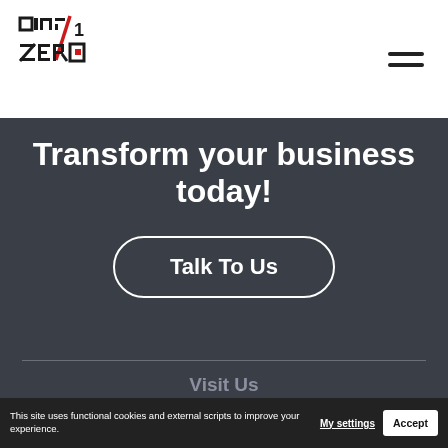[Figure (logo): Art Zero logo with stylized blocky letters and a red square, plus a diagonal slash, on white background]
Transform your business today!
Talk To Us
Visit Us
This site uses functional cookies and external scripts to improve your experience.
My settings
Accept